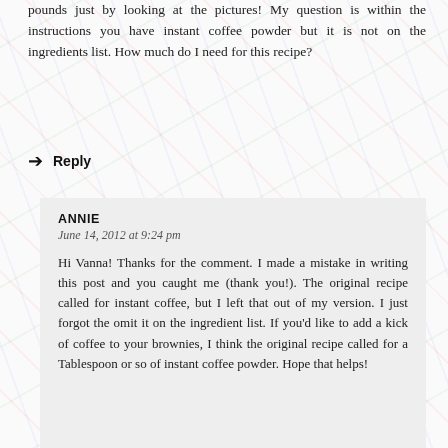pounds just by looking at the pictures! My question is within the instructions you have instant coffee powder but it is not on the ingredients list. How much do I need for this recipe?
→ Reply
ANNIE
June 14, 2012 at 9:24 pm
Hi Vanna! Thanks for the comment. I made a mistake in writing this post and you caught me (thank you!). The original recipe called for instant coffee, but I left that out of my version. I just forgot the omit it on the ingredient list. If you'd like to add a kick of coffee to your brownies, I think the original recipe called for a Tablespoon or so of instant coffee powder. Hope that helps!